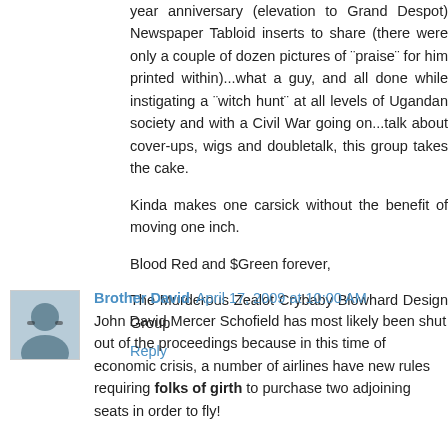year anniversary (elevation to Grand Despot) Newspaper Tabloid inserts to share (there were only a couple of dozen pictures of "praise" for him printed within)...what a guy, and all done while instigating a "witch hunt" at all levels of Ugandan society and with a Civil War going on...talk about cover-ups, wigs and doubletalk, this group takes the cake.
Kinda makes one carsick without the benefit of moving one inch.
Blood Red and $Green forever,
The Murderous Zealot Crybaby Blowhard Design Group
Reply
Brother David April 17, 2009 at 10:00 AM
John David Mercer Schofield has most likely been shut out of the proceedings because in this time of economic crisis, a number of airlines have new rules requiring folks of girth to purchase two adjoining seats in order to fly!